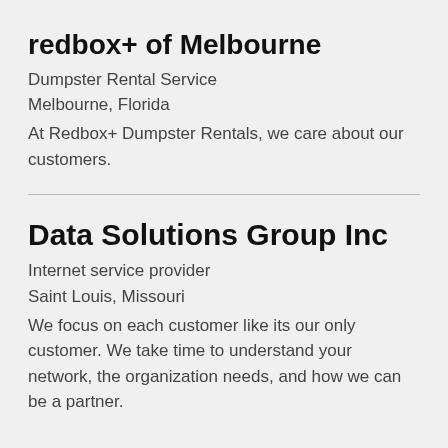redbox+ of Melbourne
Dumpster Rental Service
Melbourne, Florida
At Redbox+ Dumpster Rentals, we care about our customers.
Data Solutions Group Inc
Internet service provider
Saint Louis, Missouri
We focus on each customer like its our only customer. We take time to understand your network, the organization needs, and how we can be a partner.